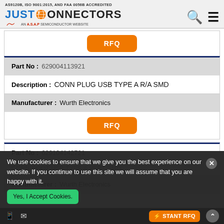AS9120B, ISO 9001:2015, AND FAA 0056B ACCREDITED
[Figure (logo): Just Connectors logo with globe icon and ASAP Semiconductor tagline]
| Part No : | 629004113921 |
| Description : | CONN PLUG USB TYPE A R/A SMD |
| Manufacturer : | Wurth Electronics |
| Part No : | 629104142721 |
| Manufacturer : | Wurth Electronics |
We use cookies to ensure that we give you the best experience on our website. If you continue to use this site we will assume that you are happy with it.
Yes, I Accept Cookies.  INSTANT RFQ